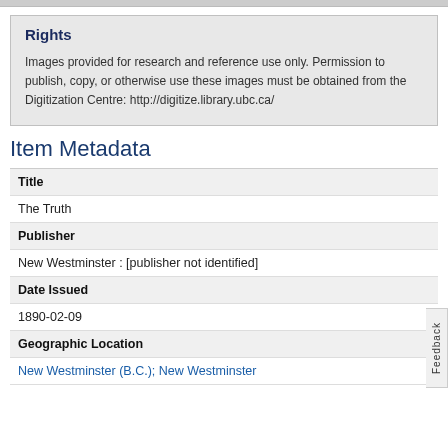Rights
Images provided for research and reference use only. Permission to publish, copy, or otherwise use these images must be obtained from the Digitization Centre: http://digitize.library.ubc.ca/
Item Metadata
| Title |
| The Truth |
| Publisher |
| New Westminster : [publisher not identified] |
| Date Issued |
| 1890-02-09 |
| Geographic Location |
| New Westminster (B.C.); New Westminster |